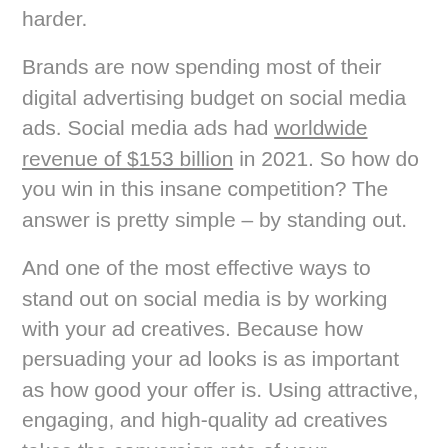harder.
Brands are now spending most of their digital advertising budget on social media ads. Social media ads had worldwide revenue of $153 billion in 2021. So how do you win in this insane competition? The answer is pretty simple – by standing out.
And one of the most effective ways to stand out on social media is by working with your ad creatives. Because how persuading your ad looks is as important as how good your offer is. Using attractive, engaging, and high-quality ad creatives takes the conversion rate of your campaigns to the next level.